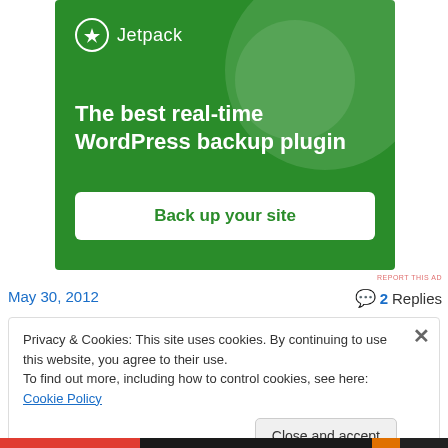[Figure (screenshot): Jetpack advertisement banner with green background showing logo, headline 'The best real-time WordPress backup plugin' and a 'Back up your site' button.]
REPORT THIS AD
May 30, 2012
2 Replies
Privacy & Cookies: This site uses cookies. By continuing to use this website, you agree to their use.
To find out more, including how to control cookies, see here: Cookie Policy
Close and accept